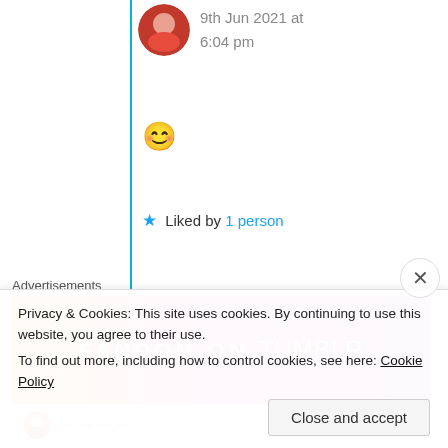9th Jun 2021 at 6:04 pm
[Figure (illustration): Smiling face emoji 😊]
★ Liked by 1 person
Advertisements
[Figure (illustration): Fandom on Tumblr advertisement banner with colorful gradient background (orange to purple) and decorative doodles]
REPORT THIS AD
Privacy & Cookies: This site uses cookies. By continuing to use this website, you agree to their use.
To find out more, including how to control cookies, see here: Cookie Policy
Close and accept